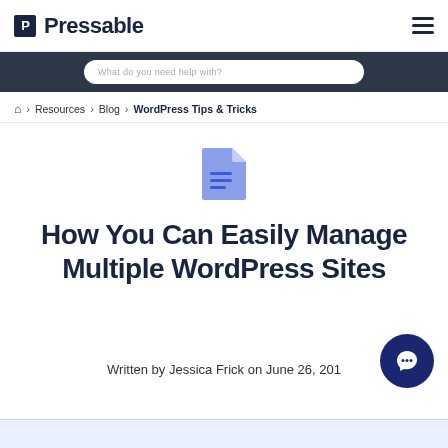Pressable
What do you need help with?
Home > Resources > Blog > WordPress Tips & Tricks
[Figure (illustration): Blue document/file icon with horizontal lines representing text]
How You Can Easily Manage Multiple WordPress Sites
Written by Jessica Frick on June 26, 201